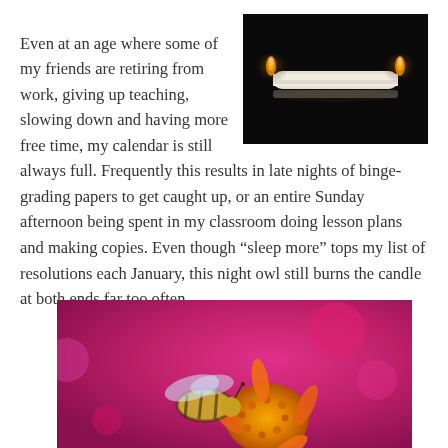Even at an age where some of my friends are retiring from work, giving up teaching, slowing down and having more free time, my calendar is still always full. Frequently this results in late nights of binge-grading papers to get caught up, or an entire Sunday afternoon being spent in my classroom doing lesson plans and making copies. Even though “sleep more” tops my list of resolutions each January, this night owl still burns the candle at both ends far too often.
[Figure (photo): A white candle lit at both ends against a dark black background, burning simultaneously from each tip.]
[Figure (photo): Close-up macro photograph of a honeybee on a flower with orange and yellow petals against a bright pink/magenta background.]